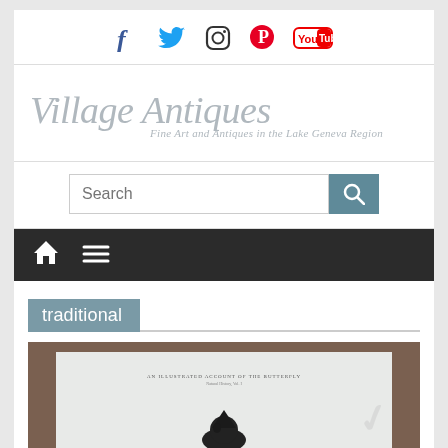Social icons: Facebook, Twitter, Instagram, Pinterest, YouTube
Village Antiques — Fine Art and Antiques in the Lake Geneva Region
Search
Navigation bar with home and menu icons
traditional
[Figure (photo): Framed artwork or print showing a bird illustration with a white mat, displayed in a dark wooden frame. A watermark/stamp appears in the lower right corner.]